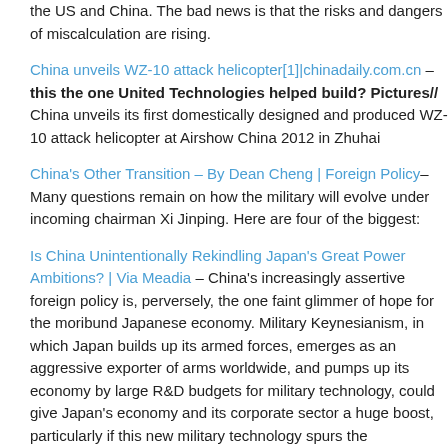the US and China. The bad news is that the risks and dangers of miscalculation are rising.
China unveils WZ-10 attack helicopter[1]|chinadaily.com.cn – this the one United Technologies helped build? Pictures// China unveils its first domestically designed and produced WZ-10 attack helicopter at Airshow China 2012 in Zhuhai
China's Other Transition – By Dean Cheng | Foreign Policy– Many questions remain on how the military will evolve under incoming chairman Xi Jinping. Here are four of the biggest:
Is China Unintentionally Rekindling Japan's Great Power Ambitions? | Via Meadia – China's increasingly assertive foreign policy is, perversely, the one faint glimmer of hope for the moribund Japanese economy. Military Keynesianism, in which Japan builds up its armed forces, emerges as an aggressive exporter of arms worldwide, and pumps up its economy by large R&D budgets for military technology, could give Japan's economy and its corporate sector a huge boost, particularly if this new military technology spurs the development of civilian high-tech companies. Some Japanese nationalists have been promoting this idea for years.
Chinese boost for US colleges – Shanghai Daily – Nationally, there